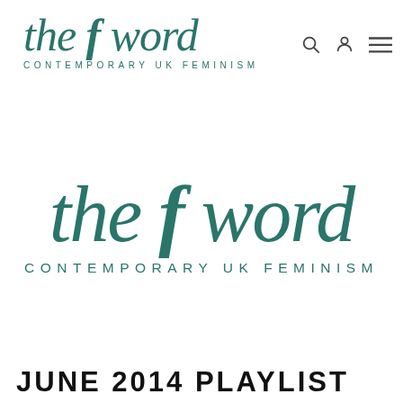the f word | CONTEMPORARY UK FEMINISM
[Figure (logo): The F Word - Contemporary UK Feminism logo, large centered version with italic serif font in teal/dark green color]
JUNE 2014 PLAYLIST